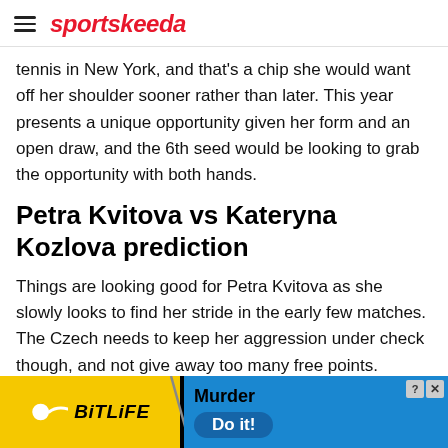sportskeeda
tennis in New York, and that's a chip she would want off her shoulder sooner rather than later. This year presents a unique opportunity given her form and an open draw, and the 6th seed would be looking to grab the opportunity with both hands.
Petra Kvitova vs Kateryna Kozlova prediction
Things are looking good for Petra Kvitova as she slowly looks to find her stride in the early few matches. The Czech needs to keep her aggression under check though, and not give away too many free points.
Kateryna Kozlova will by no means be a pushover, but her
[Figure (other): BitLife advertisement banner with yellow and blue background showing 'Murder Do it!' text]